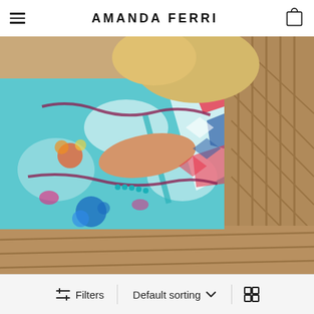AMANDA FERRI
[Figure (photo): A woman wearing a colorful printed silk maxi dress with teal, floral, and geometric patterns, lounging on a wicker/rattan chair or lounger outdoors in bright sunlight.]
Filters   Default sorting   [grid view]